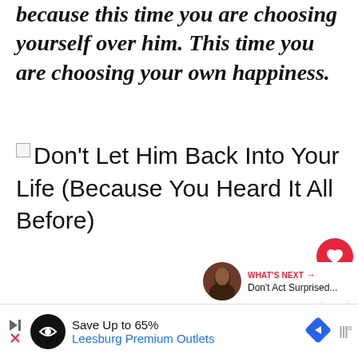because this time you are choosing yourself over him. This time you are choosing your own happiness.
[Figure (illustration): Broken image placeholder with alt text: Don't Let Him Back Into Your Life (Because You Heard It All Before)]
[Figure (infographic): Social interaction buttons: heart/love button (red circle) with count 280, and share button (white circle with share icon)]
[Figure (infographic): What's Next promo: thumbnail of woman, label WHAT'S NEXT with arrow, text Don't Act Surprised...]
[Figure (infographic): Advertisement banner: Save Up to 65% Leesburg Premium Outlets]